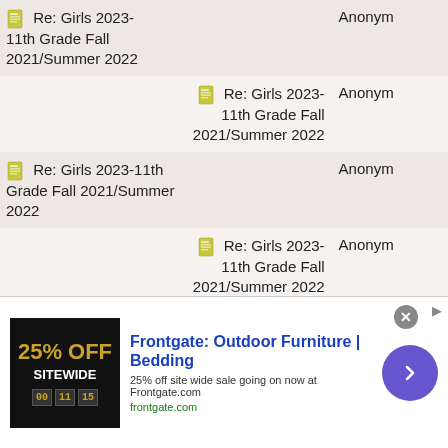| Topic | Author |
| --- | --- |
| Re: Girls 2023-11th Grade Fall 2021/Summer 2022 | Anonym |
| Re: Girls 2023-11th Grade Fall 2021/Summer 2022 | Anonym |
| Re: Girls 2023-11th Grade Fall 2021/Summer 2022 | Anonym |
| Re: Girls 2023-11th Grade Fall 2021/Summer 2022 | Anonym |
| Re: Girls 2023-11th Grade Fall 2021/Summer 2022 | Anonym |
| Re: Girls 2023-11th Grade Fall 2021/Summer 2022 | Anonym |
[Figure (infographic): Advertisement banner for Frontgate: Outdoor Furniture | Bedding. Shows '25% OFF SITEWIDE' promotion with text '25% off site wide sale going on now at Frontgate.com' and URL 'frontgate.com'. Has a close button and navigation arrow.]